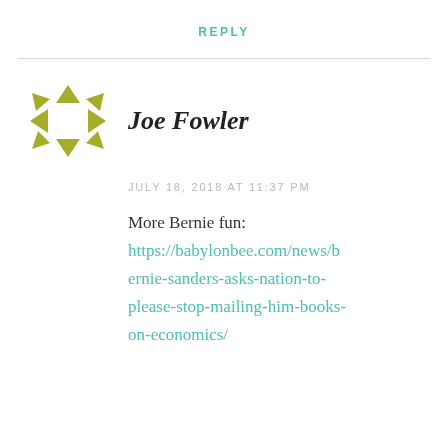REPLY
[Figure (logo): Decorative geometric snowflake-like avatar icon made of olive/yellow-green triangles arranged in a square pattern]
Joe Fowler
JULY 18, 2018 AT 11:37 PM
More Bernie fun:
https://babylonbee.com/news/bernie-sanders-asks-nation-to-please-stop-mailing-him-books-on-economics/